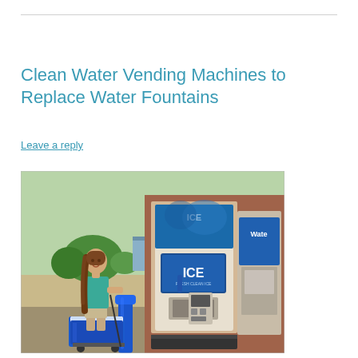Clean Water Vending Machines to Replace Water Fountains
Leave a reply
[Figure (photo): A woman smiling and pulling a blue cooler on wheels next to a water and ice vending machine kiosk in a parking lot. The machine has a large blue display screen showing 'ICE' and a 'Water' section to the right. The machine is set into a brown/brick-colored building exterior.]